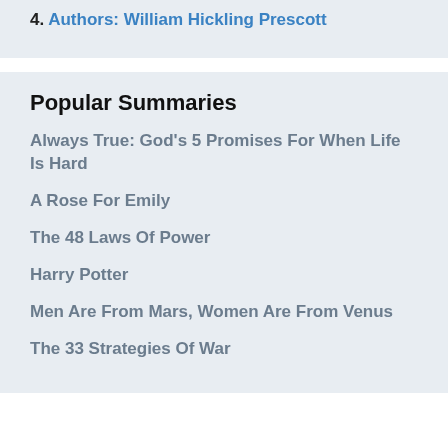4. Authors: William Hickling Prescott
Popular Summaries
Always True: God's 5 Promises For When Life Is Hard
A Rose For Emily
The 48 Laws Of Power
Harry Potter
Men Are From Mars, Women Are From Venus
The 33 Strategies Of War